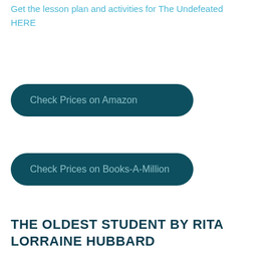Get the lesson plan and activities for The Undefeated HERE
Check Prices on Amazon
Check Prices on Books-A-Million
THE OLDEST STUDENT BY RITA LORRAINE HUBBARD